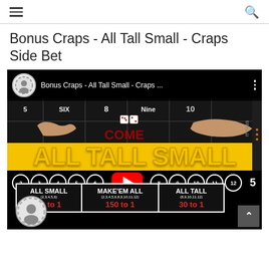≡  🔍
Bonus Craps - All Tall Small - Craps Side Bet
[Figure (screenshot): YouTube video thumbnail/embed showing a craps table with 'ALL TALL SMALL' in large yellow text, numbers 2-6 and 8-12 in circles, a YouTube play button, and a bet table showing ALL SMALL (2,3,4,5,6) 30 to 1, MAKE'EM ALL (2,3,4,5,6,8,9,10,11,12) 150 to 1, ALL TALL (8,9,10,11,12) 30 to 1. Video title bar reads: Bonus Craps - All Tall Small - Craps ...]